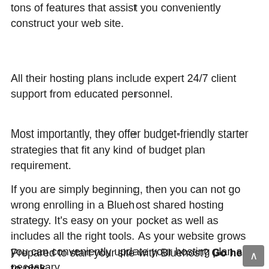tons of features that assist you conveniently construct your web site.
All their hosting plans include expert 24/7 client support from educated personnel.
Most importantly, they offer budget-friendly starter strategies that fit any kind of budget plan requirement.
If you are simply beginning, then you can not go wrong enrolling in a Bluehost shared hosting strategy. It's easy on your pocket as well as includes all the right tools. As your website grows you can conveniently update your hosting plan as necessary.
Prepared to start your site with Bluehost? Go here to pick Bluehost plan